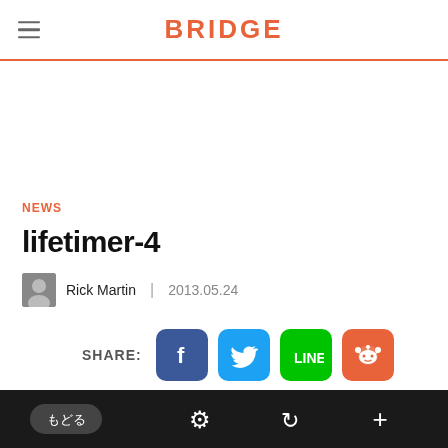BRIDGE
NEWS
lifetimer-4
Rick Martin | 2013.05.24
SHARE:
[Figure (screenshot): Bottom navigation bar with もどる (back) button, gear/settings icon, refresh icon, and plus icon on dark background]